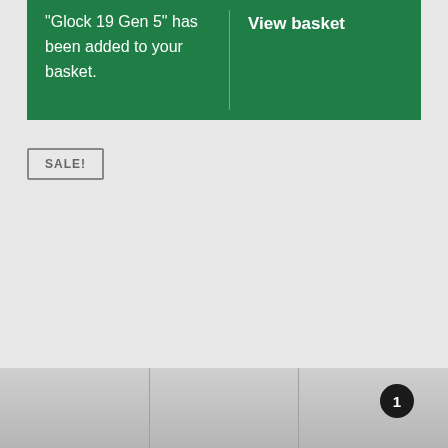“Glock 19 Gen 5” has been added to your basket.
View basket
SALE!
1